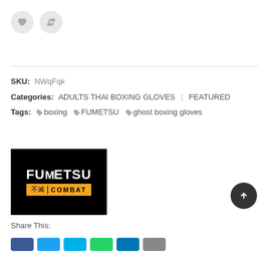[Figure (other): Two circular icon buttons: a heart/like button and a retweet/share button, both with light gray background]
SKU:  NWqFqk
Categories:  ADULTS THAI BOXING GLOVES  |  FEATURED
Tags:  boxing  FUMETSU  ghost boxing gloves
[Figure (logo): Fumetsu Combat logo: black background with white bold text FUMETSU on top, and orange bar below with black kanji and COMBAT text]
Share This:
[Figure (other): Row of social media share buttons in various colors (blue, light blue, teal, green, blue, gray)]